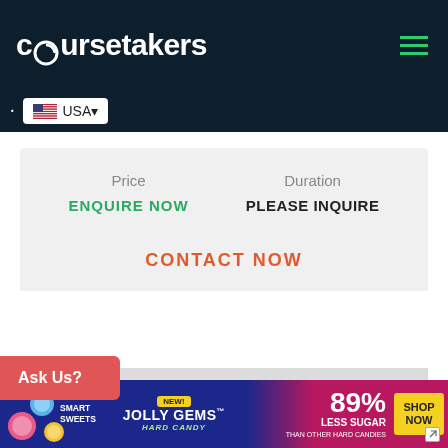coursetakers
USA
Price
ENQUIRE NOW
Duration
PLEASE INQUIRE
CONTACT NOW
Ask Us?
Read More
[Figure (screenshot): Bottom portion of a second course card, partially visible]
[Figure (illustration): Advertisement banner for Smart Sweets Jolly Gems Hard Candy — 89% Less Sugar than other hard candies, Shop Now button]